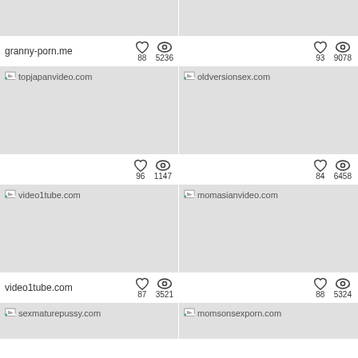[Figure (screenshot): Top partial image left - granny-porn.me thumbnail, gray placeholder]
[Figure (screenshot): Top partial image right - gray placeholder, no label visible]
granny-porn.me  ♡ 88  👁 5236
♡ 93  👁 9078
[Figure (screenshot): topjapanvideo.com thumbnail, gray placeholder]
[Figure (screenshot): oldversionsex.com thumbnail, gray placeholder]
♡ 96  👁 1147
♡ 84  👁 6458
[Figure (screenshot): video1tube.com thumbnail, gray placeholder]
[Figure (screenshot): momasianvideo.com thumbnail, gray placeholder]
video1tube.com  ♡ 87  👁 3521
♡ 88  👁 5324
[Figure (screenshot): sexmaturepussy.com thumbnail, gray placeholder]
[Figure (screenshot): momsonsexporn.com thumbnail, gray placeholder]